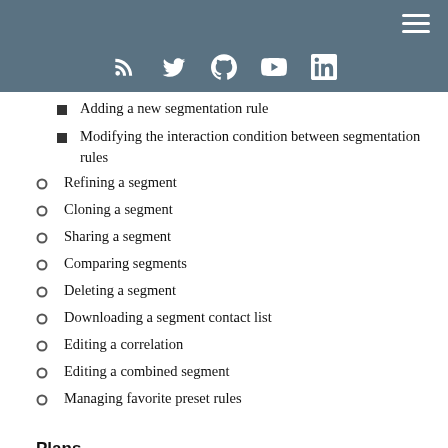Navigation header with social icons (RSS, Twitter, GitHub, YouTube, LinkedIn) and hamburger menu
Adding a new segmentation rule
Modifying the interaction condition between segmentation rules
Refining a segment
Cloning a segment
Sharing a segment
Comparing segments
Deleting a segment
Downloading a segment contact list
Editing a correlation
Editing a combined segment
Managing favorite preset rules
Plans
Managing plans